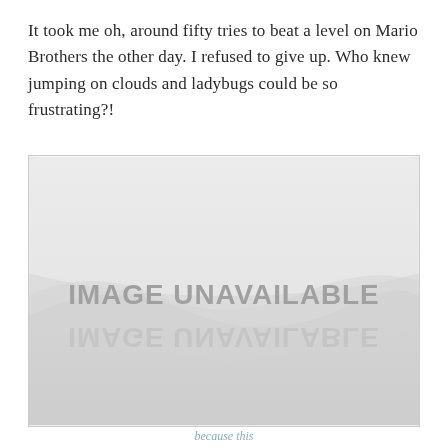It took me oh, around fifty tries to beat a level on Mario Brothers the other day. I refused to give up. Who knew jumping on clouds and ladybugs could be so frustrating?!
[Figure (other): Image unavailable placeholder with grey gradient background and text 'IMAGE UNAVAILABLE']
because this